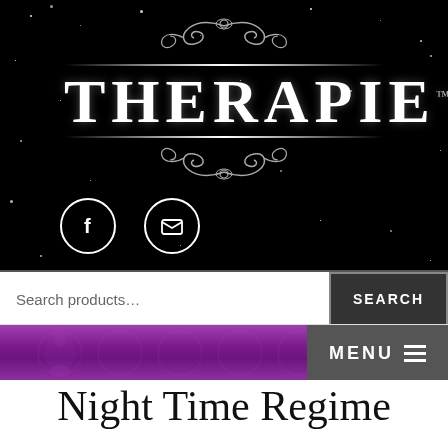[Figure (logo): Therapie brand logo with ornamental scrollwork, white serif text on black starry background. Social media icons (Facebook, Email) shown as white circles below logo.]
[Figure (screenshot): Search bar with placeholder text 'Search products...' and a dark SEARCH button on the right]
[Figure (screenshot): Purple decorative menu bar with floral pattern and dark MENU button with hamburger icon on the right]
Night Time Regime